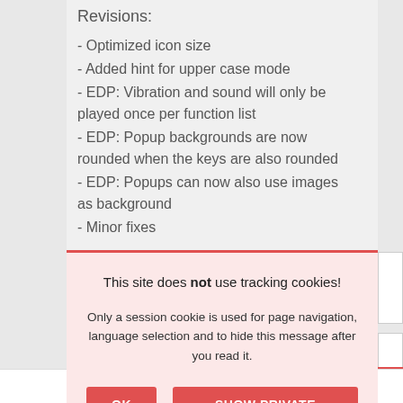Revisions:
- Optimized icon size
- Added hint for upper case mode
- EDP: Vibration and sound will only be played once per function list
- EDP: Popup backgrounds are now rounded when the keys are also rounded
- EDP: Popups can now also use images as background
- Minor fixes
This site does not use tracking cookies!
Only a session cookie is used for page navigation, language selection and to hide this message after you read it.
OK    SHOW PRIVATE POLICY